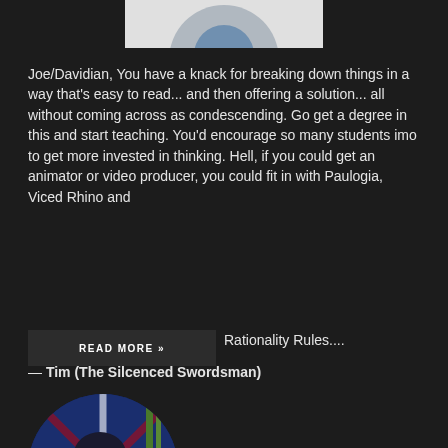[Figure (photo): Partial top portion of a circular avatar/profile image on white/light background, cropped at top of page]
Joe/Davidian, You have a knack for breaking down things in a way that's easy to read... and then offering a solution... all without coming across as condescending. Go get a degree in this and start teaching. You'd encourage so many students imo to get more invested in thinking. Hell, if you could get an animator or video producer, you could fit in with Paulogia, Viced Rhino and Rationality Rules....
— Tim (The Silcenced Swordsman)
[Figure (illustration): Circular avatar image of an illustrated/animated character — pale-skinned figure with dark hair, holding a sword, against a blue background with Union Jack flag elements and green bamboo plants]